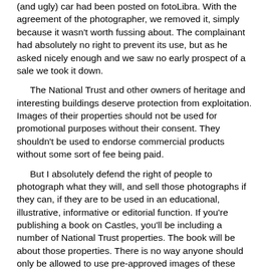(and ugly) car had been posted on fotoLibra. With the agreement of the photographer, we removed it, simply because it wasn't worth fussing about. The complainant had absolutely no right to prevent its use, but as he asked nicely enough and we saw no early prospect of a sale we took it down.
The National Trust and other owners of heritage and interesting buildings deserve protection from exploitation. Images of their properties should not be used for promotional purposes without their consent. They shouldn't be used to endorse commercial products without some sort of fee being paid.
But I absolutely defend the right of people to photograph what they will, and sell those photographs if they can, if they are to be used in an educational, illustrative, informative or editorial function. If you're publishing a book on Castles, you'll be including a number of National Trust properties. The book will be about those properties. There is no way anyone should only be allowed to use pre-approved images of these buildings.
It's down to power and control. Celebs in the pupal stage will do anything to court publicity. Once they achieve imago they need to control publicity: vetting photographs, checking journalists' credentials, only being photographed from one side.
The National Trust's position is looking increasingly fragile. It only needs someone with a little spare time and a little spare